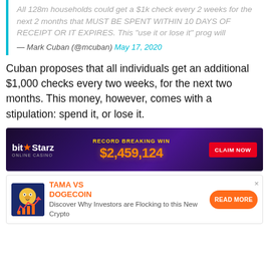All 128m households could get a $1k check every 2 weeks for the next 2 months that MUST BE SPENT WITHIN 10 DAYS OF RECEIPT OR IT EXPIRES. This "use it or lose it" prog will
— Mark Cuban (@mcuban) May 17, 2020
Cuban proposes that all individuals get an additional $1,000 checks every two weeks, for the next two months. This money, however, comes with a stipulation: spend it, or lose it.
[Figure (other): BitStarz Online Casino advertisement banner showing RECORD BREAKING WIN $2,459,124 with CLAIM NOW button]
[Figure (other): TAMA VS DOGECOIN advertisement with Read More button and Discover Why Investors are Flocking to this New Crypto text]